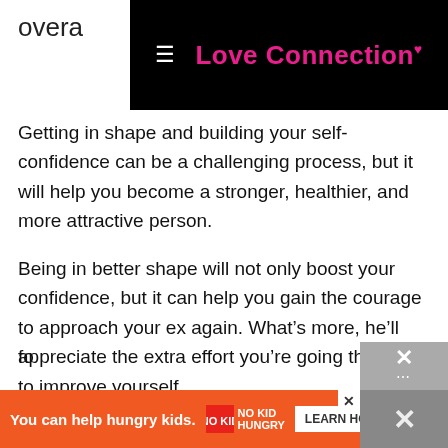overa
[Figure (screenshot): Black navigation bar with hamburger menu icon and 'Love Connection' logo in pink text]
Getting in shape and building your self-confidence can be a challenging process, but it will help you become a stronger, healthier, and more attractive person.
Being in better shape will not only boost your confidence, but it can help you gain the courage to approach your ex again. What’s more, he’ll appreciate the extra effort you’re going through to improve yourself.
6) Reconnect with your friends
When you were in a relationship, it was easy to put your friends on the back burner. You might have become so fo...
[Figure (screenshot): Orange advertisement bar: 'You can help hungry kids.' with No Kid Hungry logo and LEARN HOW button]